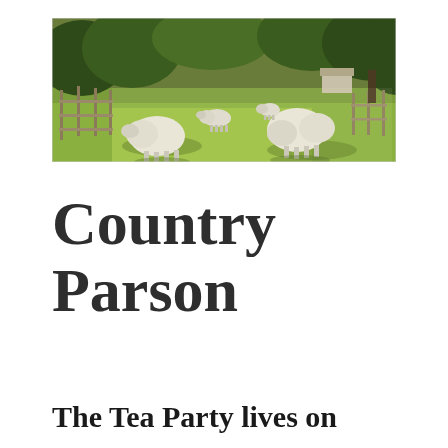[Figure (photo): Panoramic photo of a farm pasture with several white sheep grazing on green grass. A wooden fence is visible on the left, and trees line the background.]
Country Parson
The Tea Party lives on